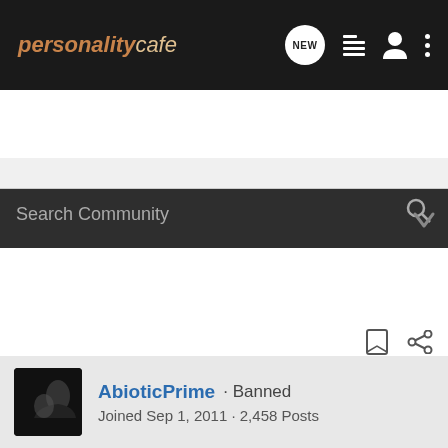personality cafe
Search Community
9? 4? 6?? sp/so??? Ne-LII
AbioticPrime · Banned
Joined Sep 1, 2011 · 2,458 Posts